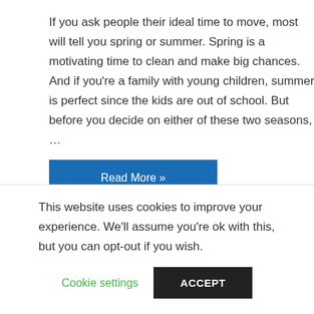If you ask people their ideal time to move, most will tell you spring or summer. Spring is a motivating time to clean and make big chances. And if you're a family with young children, summer is perfect since the kids are out of school. But before you decide on either of these two seasons, …
Read More »
[Figure (other): Social sharing icons: Facebook, Twitter, Email, and Add/More buttons]
This website uses cookies to improve your experience. We'll assume you're ok with this, but you can opt-out if you wish.
Cookie settings
ACCEPT